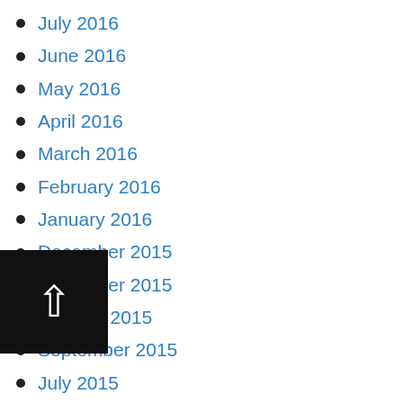July 2016
June 2016
May 2016
April 2016
March 2016
February 2016
January 2016
December 2015
November 2015
October 2015
September 2015
July 2015
June 2015
May 2015
April 2015
March 2015